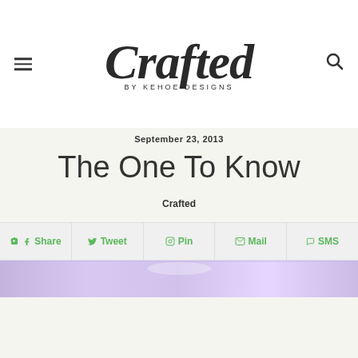Crafted by Kehoe Designs
September 23, 2013
The One To Know
Crafted
Share  Tweet  Pin  Mail  SMS
[Figure (photo): Interior event space with purple/lavender lighting]